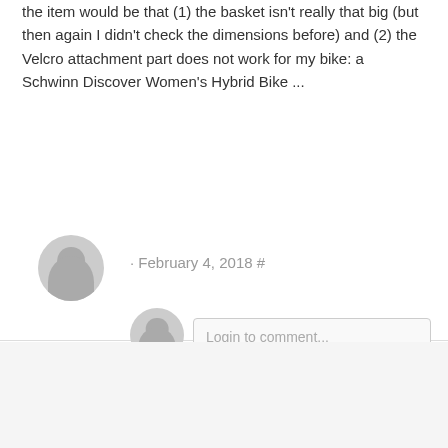the item would be that (1) the basket isn't really that big (but then again I didn't check the dimensions before) and (2) the Velcro attachment part does not work for my bike: a Schwinn Discover Women's Hybrid Bike ...
· February 4, 2018 #
[Figure (illustration): Large gray circular avatar icon for commenter]
[Figure (illustration): Small gray circular avatar icon for reply commenter]
Login to comment...
Post Comment
Pinned onto Bike Racks & Bags
Follow Board
[Figure (photo): Six thumbnail images of bike racks and bags products]